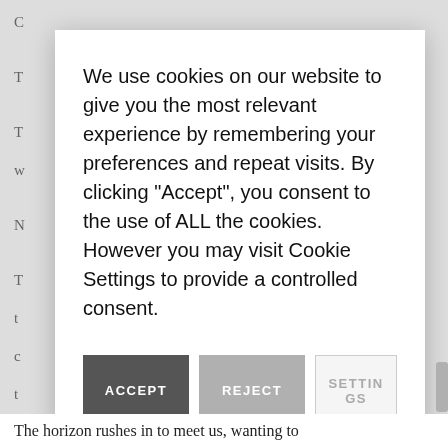We use cookies on our website to give you the most relevant experience by remembering your preferences and repeat visits. By clicking "Accept", you consent to the use of ALL the cookies. However you may visit Cookie Settings to provide a controlled consent.
ACCEPT
REJECT
SETTINGS
The horizon rushes in to meet us, wanting to